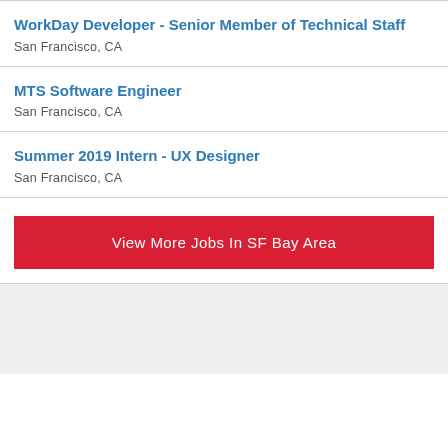WorkDay Developer - Senior Member of Technical Staff
San Francisco, CA
MTS Software Engineer
San Francisco, CA
Summer 2019 Intern - UX Designer
San Francisco, CA
View More Jobs In SF Bay Area